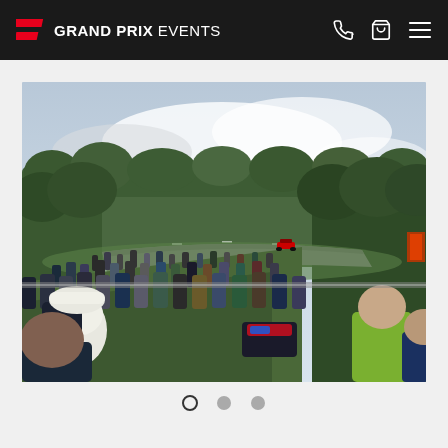GRAND PRIX EVENTS
[Figure (photo): Crowd of spectators watching a Formula 1 car race past on a track at Spa-Francorchamps circuit, surrounded by dense green forest. Fans seated and standing on grass hillside grandstand area.]
[Figure (infographic): Carousel navigation dots: first dot active (outlined circle), second and third dots inactive (filled grey circles)]